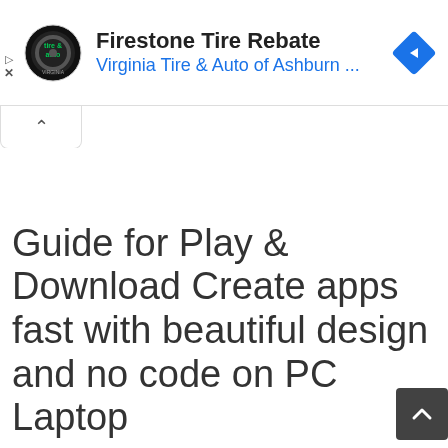[Figure (screenshot): Advertisement banner for Firestone Tire Rebate by Virginia Tire & Auto of Ashburn. Contains circular logo with tire & auto branding, title text, subtitle link text in blue, a blue diamond navigation icon, and ad control icons (play/close).]
Guide for Play & Download Create apps fast with beautiful design and no code on PC Laptop